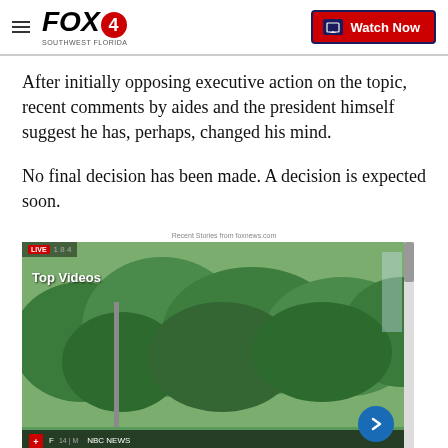FOX4 | Watch Now
After initially opposing executive action on the topic, recent comments by aides and the president himself suggest he has, perhaps, changed his mind.
No final decision has been made. A decision is expected soon.
[Figure (photo): Street intersection photo showing a blue 'Orange River' street sign and a red STOP sign against a backdrop of green trees, with a 'Top Videos' overlay label and LIVE badge in the top left corner, and a blue arrow navigation button in the bottom right.]